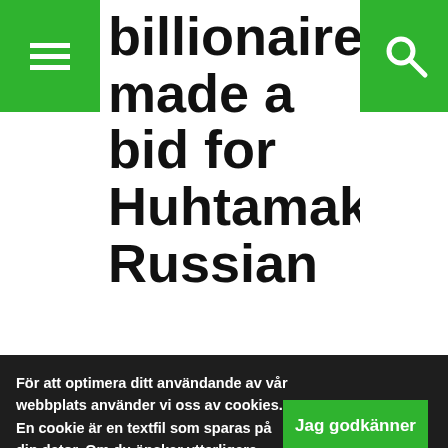billionaire made a bid for Huhtamaki's Russian
För att optimera ditt användande av vår webbplats använder vi oss av cookies. En cookie är en textfil som sparas på din dator. Om du önskar ytterligare information om vad en cookie är, vilka cookies vi använder, vad syftet med cookien är eller hur du kan blockera eller radera cookies, vänligen läs Om cookies.